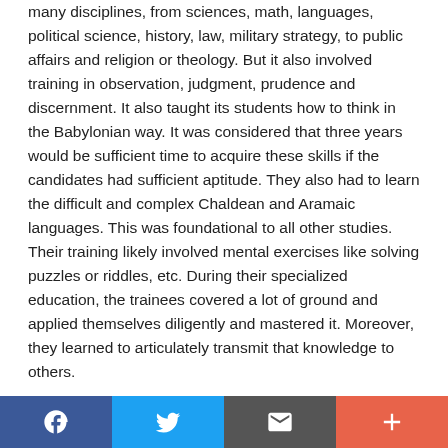many disciplines, from sciences, math, languages, political science, history, law, military strategy, to public affairs and religion or theology. But it also involved training in observation, judgment, prudence and discernment. It also taught its students how to think in the Babylonian way. It was considered that three years would be sufficient time to acquire these skills if the candidates had sufficient aptitude. They also had to learn the difficult and complex Chaldean and Aramaic languages. This was foundational to all other studies. Their training likely involved mental exercises like solving puzzles or riddles, etc. During their specialized education, the trainees covered a lot of ground and applied themselves diligently and mastered it. Moreover, they learned to articulately transmit that knowledge to others.
Also, Babylonian astronomers had reached a very high degree of development. They could, for instance, predict both lunar and solar eclipses by computation. Their mathematical skills were also highly developed. They used
[Figure (other): Social sharing toolbar with Facebook, Twitter, email/message, and plus/add buttons]